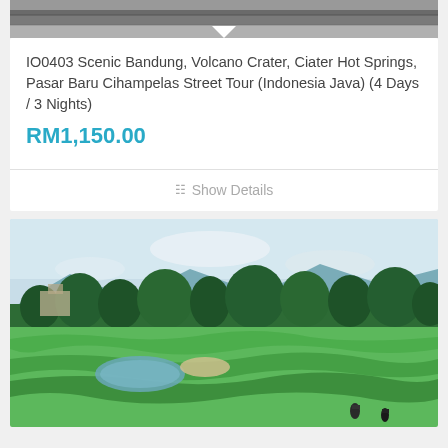[Figure (photo): Partial view of a structure/roof at the top of the page, dark gray tones]
IO0403 Scenic Bandung, Volcano Crater, Ciater Hot Springs, Pasar Baru Cihampelas Street Tour (Indonesia Java) (4 Days / 3 Nights)
RM1,150.00
Show Details
[Figure (photo): Scenic landscape photo showing a lush green golf course or terraced fields with trees, mountains in the background, and figures of people in the foreground under a partly cloudy sky]